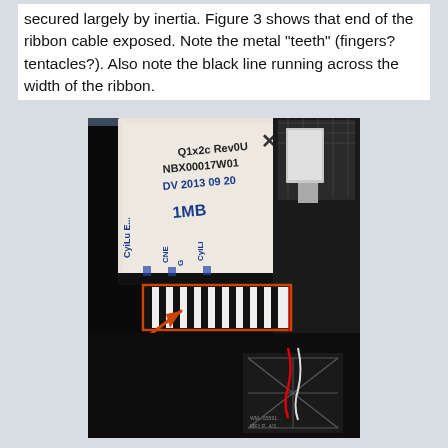secured largely by inertia. Figure 3 shows that end of the ribbon cable exposed. Note the metal "teeth" (fingers? tentacles?). Also note the black line running across the width of the ribbon.
[Figure (photo): Close-up photo of a ribbon cable end with labeled text (Q1x2c Rev0, NBX00017W01, DV 2013 09 20, 1MB, and other markings). The cable end shows alternating black and white metal 'teeth' contacts highlighted by an orange rectangle. An orange arrow points to the teeth area. On the right side is a dark connector housing with red and white wires visible below.]